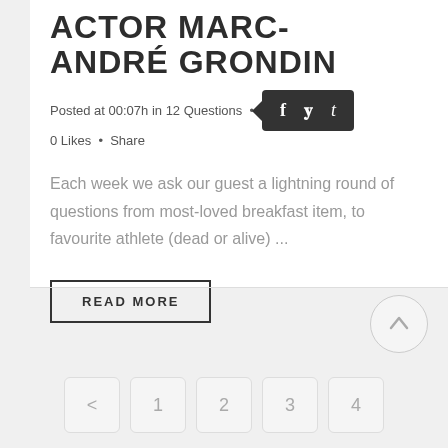ACTOR MARC-ANDRÉ GRONDIN
Posted at 00:07h in 12 Questions · 0 Likes · Share
Each week we ask our guest a lightning round of questions from most-loved breakfast item, to favourite athlete (dead or alive) ...
READ MORE
[Figure (other): Scroll to top button (arrow up inside circle)]
< 1 2 3 4